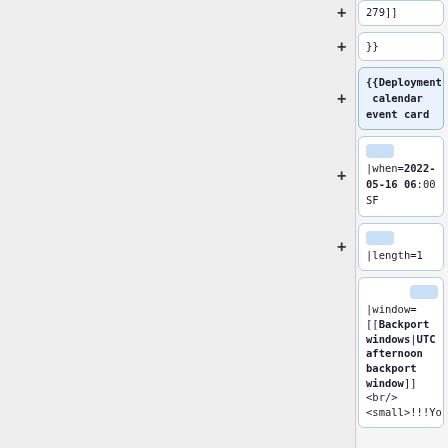279]]
}}
{{Deployment calendar event card
|when=2022-05-16 06:00 SF
|length=1
|window=[[Backport windows|UTC afternoon backport window]] <br/> <small>!!!Yo